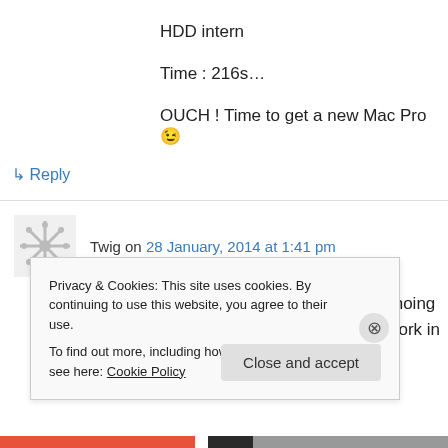HDD intern
Time : 216s…
OUCH ! Time to get a new Mac Pro 😉
↳ Reply
Twig on 28 January, 2014 at 1:41 pm
Thanks for this test! Unfortunately I'm echoing what Ben said, for me this export won't work in
Privacy & Cookies: This site uses cookies. By continuing to use this website, you agree to their use. To find out more, including how to control cookies, see here: Cookie Policy